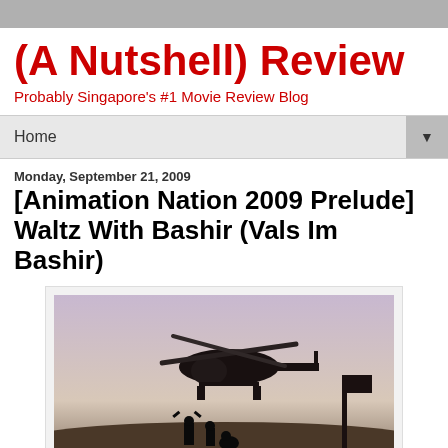(A Nutshell) Review
Probably Singapore's #1 Movie Review Blog
Home
Monday, September 21, 2009
[Animation Nation 2009 Prelude] Waltz With Bashir (Vals Im Bashir)
[Figure (photo): Black and white / sepia-toned still from Waltz With Bashir showing silhouettes of soldiers and a military helicopter hovering low against a pale sky, with a street sign pole visible on the right.]
Whirlybird...